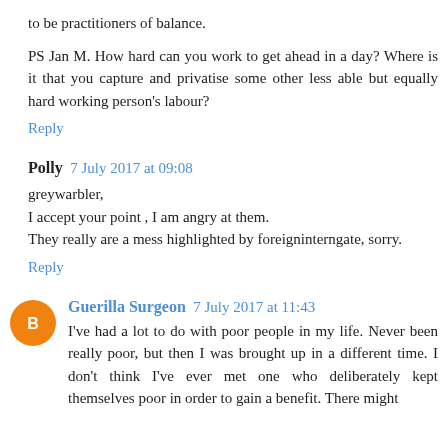to be practitioners of balance.
PS Jan M. How hard can you work to get ahead in a day? Where is it that you capture and privatise some other less able but equally hard working person's labour?
Reply
Polly 7 July 2017 at 09:08
greywarbler,
I accept your point , I am angry at them.
They really are a mess highlighted by foreigninterngate, sorry.
Reply
Guerilla Surgeon 7 July 2017 at 11:43
I've had a lot to do with poor people in my life. Never been really poor, but then I was brought up in a different time. I don't think I've ever met one who deliberately kept themselves poor in order to gain a benefit. There might